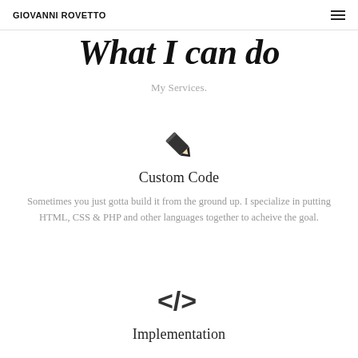GIOVANNI ROVETTO
What I can do
My Services.
[Figure (illustration): Pencil icon representing custom code service]
Custom Code
Sometimes you just gotta build it from the ground up. I specialize in putting HTML, CSS & PHP and other languages together to acheive the goal.
[Figure (illustration): Code tag icon </> representing implementation service]
Implementation